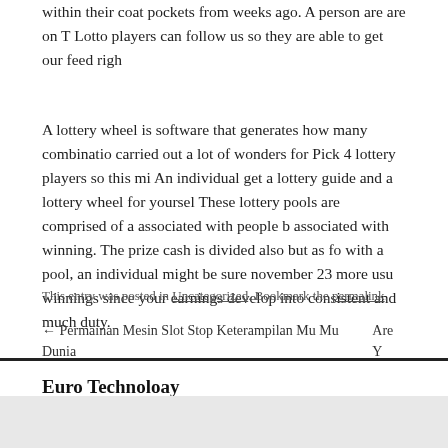within their coat pockets from weeks ago. A person are are on T Lotto players can follow us so they are able to get our feed righ
A lottery wheel is software that generates how many combinatio carried out a lot of wonders for Pick 4 lottery players so this mi An individual get a lottery guide and a lottery wheel for yoursel These lottery pools are comprised of a associated with people b associated with winning. The prize cash is divided also but as fo with a pool, an individual might be sure november 23 more usu winnings since your earnings develop into consistent and much duty.
This entry was posted in Uncategorized. Bookmark the permalink.
← Permainan Mesin Slot Stop Keterampilan Mu Mu Dunia   Are Y
Euro Technoloay